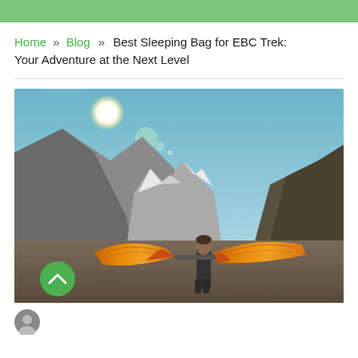Home » Blog » Best Sleeping Bag for EBC Trek: Your Adventure at the Next Level
[Figure (photo): A hiker standing on rocky mountain terrain holding open a large orange and red sleeping bag with wings spread wide, with snow-capped mountains and bright sun in the background.]